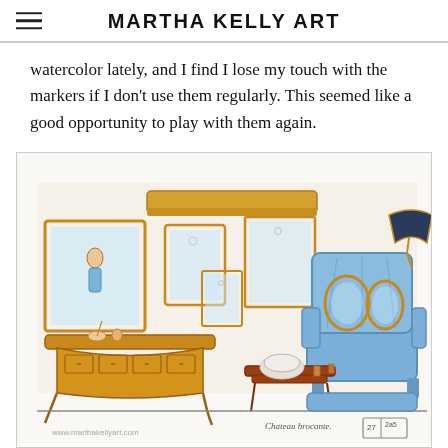MARTHA KELLY ART
watercolor lately, and I find I lose my touch with the markers if I don't use them regularly. This seemed like a good opportunity to play with them again.
[Figure (illustration): A hand-drawn marker sketch of an interior room scene featuring a vanity desk with mirror on the left, small side table in the center, a blue upholstered armchair on the right with oval decorative frames, a wall-mounted lamp, and framed mirrors/windows on the wall. Signed 'Chateau brocante' with a date box in the lower right. Watermark 'www.marthakellyart.com' in lower left.]
Both this sketch and the scene itself reminded me of a brocante